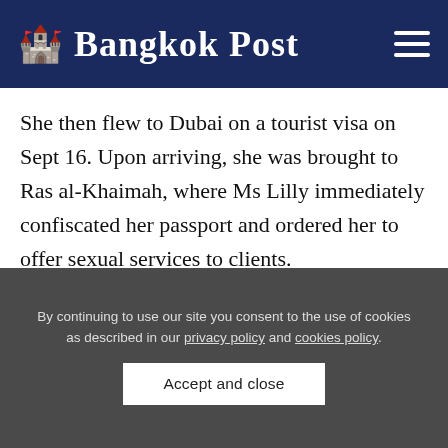Bangkok Post
She then flew to Dubai on a tourist visa on Sept 16. Upon arriving, she was brought to Ras al-Khaimah, where Ms Lilly immediately confiscated her passport and ordered her to offer sexual services to clients.
When the victim asked to be allowed to go home, Ms Lilly told her she would have to pay 70,000 baht to cover the airline ticket and other travel-related fees,
By continuing to use our site you consent to the use of cookies as described in our privacy policy and cookies policy. Accept and close